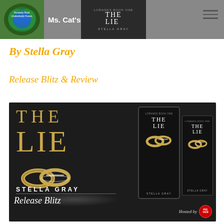Ms. Cat's — Honestly Real. Unabashedly Honest.
By Stella Gray
Release Blitz & Review
[Figure (illustration): Release Blitz banner for 'The Lie' by Stella Gray showing book title in gold lettering on dark background with wedding rings, plus two book mockups (tablet and paperback) on the right side. Bottom text reads 'Release Blitz' in script and 'Hosted by' with a badge logo.]